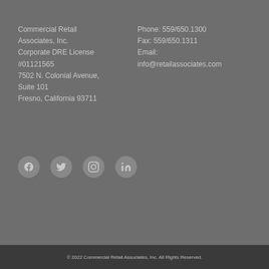Commercial Retail Associates, Inc.
Corporate DRE License #01121565
7502 N. Colonial Avenue, Suite 101
Fresno, California 93711
Phone: 559/650.1300
Fax: 559/650.1311
Email:
info@retailassociates.com
[Figure (other): Social media icons: Facebook, Twitter, Instagram, LinkedIn]
© 2022 Commercial Retail Associates, Inc. All Rights Reserved.